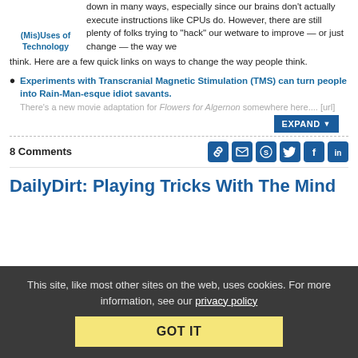down in many ways, especially since our brains don't actually execute instructions like CPUs do. However, there are still plenty of folks trying to "hack" our wetware to improve — or just change — the way we think. Here are a few quick links on ways to change the way people think.
Experiments with Transcranial Magnetic Stimulation (TMS) can turn people into Rain-Man-esque idiot savants. There's a new movie adaptation for Flowers for Algernon somewhere here.... [url]
8 Comments
DailyDirt: Playing Tricks With The Mind
This site, like most other sites on the web, uses cookies. For more information, see our privacy policy
GOT IT